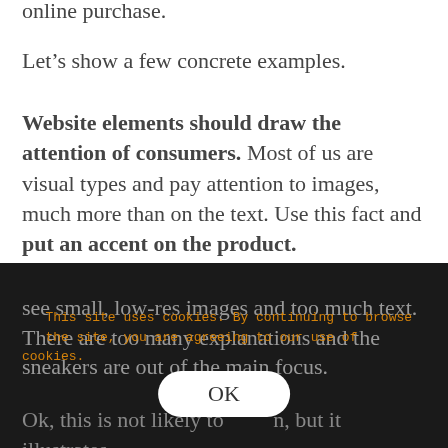online purchase.
Let’s show a few concrete examples.
Website elements should draw the attention of consumers. Most of us are visual types and pay attention to images, much more than on the text. Use this fact and put an accent on the product.
Imagine this situation: you navigate Nike’s site, see small, low-res images and too much text. There are too many explanations and the sneakers are out of the main focus.
[Figure (screenshot): Dark overlay cookie consent popup showing orange text: 'This site uses cookies. By continuing to browse the site, you are agreeing to our use of cookies.' with an OK button.]
Ok, this is not likely to happen, but it illustrates the importance of the quality images that sell and dominate while text should serve as a